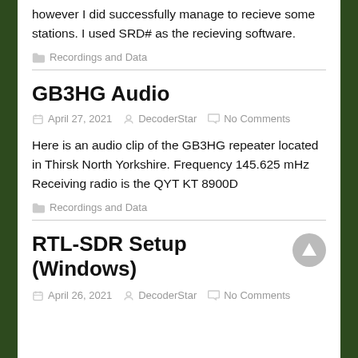however I did successfully manage to recieve some stations. I used SRD# as the recieving software.
Recordings and Data
GB3HG Audio
April 27, 2021  DecoderStar  No Comments
Here is an audio clip of the GB3HG repeater located in Thirsk North Yorkshire. Frequency 145.625 mHz Receiving radio is the QYT KT 8900D
Recordings and Data
RTL-SDR Setup (Windows)
April 26, 2021  DecoderStar  No Comments